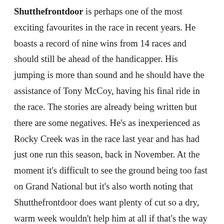Shutthefrontdoor is perhaps one of the most exciting favourites in the race in recent years. He boasts a record of nine wins from 14 races and should still be ahead of the handicapper. His jumping is more than sound and he should have the assistance of Tony McCoy, having his final ride in the race. The stories are already being written but there are some negatives. He's as inexperienced as Rocky Creek was in the race last year and has had just one run this season, back in November. At the moment it's difficult to see the ground being too fast on Grand National but it's also worth noting that Shutthefrontdoor does want plenty of cut so a dry, warm week wouldn't help him at all if that's the way the weather goes.
Cheltenham winners coming here a few weeks later don't have the best of records so The Druid's Nephew and Cause